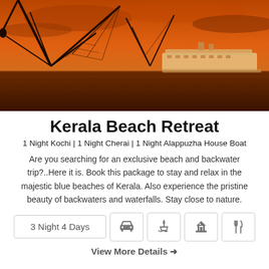[Figure (photo): Sunset/dusk scene with Chinese fishing nets silhouette in foreground and a large cruise ship on the water, orange-red sky]
Kerala Beach Retreat
1 Night Kochi | 1 Night Cherai | 1 Night Alappuzha House Boat
Are you searching for an exclusive beach and backwater trip?..Here it is. Book this package to stay and relax in the majestic blue beaches of Kerala. Also experience the pristine beauty of backwaters and waterfalls. Stay close to nature.
3 Night 4 Days
View More Details →